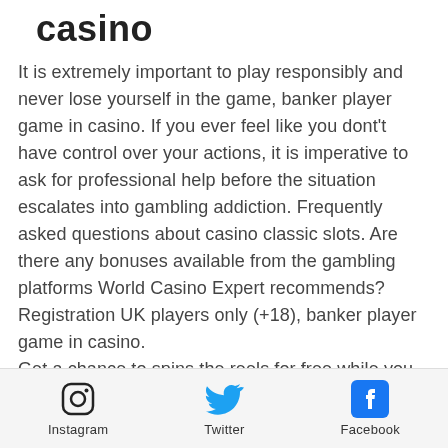casino
It is extremely important to play responsibly and never lose yourself in the game, banker player game in casino. If you ever feel like you dont't have control over your actions, it is imperative to ask for professional help before the situation escalates into gambling addiction. Frequently asked questions about casino classic slots. Are there any bonuses available from the gambling platforms World Casino Expert recommends?
Registration UK players only (+18), banker player game in casino.
Get a chance to spins the reels for free while you play the beloved slot game Magic Panda. Redeem the promo code MAGICTASTIC to avail this no deposit bonus. Slots Garden 250% No Max Bonus
Instagram  Twitter  Facebook